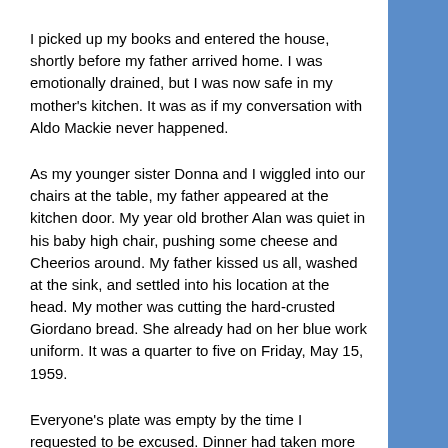I picked up my books and entered the house, shortly before my father arrived home. I was emotionally drained, but I was now safe in my mother's kitchen. It was as if my conversation with Aldo Mackie never happened.
As my younger sister Donna and I wiggled into our chairs at the table, my father appeared at the kitchen door. My year old brother Alan was quiet in his baby high chair, pushing some cheese and Cheerios around. My father kissed us all, washed at the sink, and settled into his location at the head. My mother was cutting the hard-crusted Giordano bread. She already had on her blue work uniform. It was a quarter to five on Friday, May 15, 1959.
Everyone's plate was empty by the time I requested to be excused. Dinner had taken more than an hour. Only my mother and father really cherished the meatless Friday dinner, with Giordano's bread making for some delectable dish cleaning of the yoke and tomato sauce. My sister and I would have preferred something more substantial but that had been a long